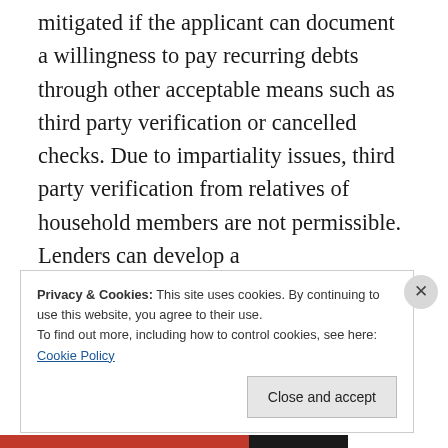mitigated if the applicant can document a willingness to pay recurring debts through other acceptable means such as third party verification or cancelled checks. Due to impartiality issues, third party verification from relatives of household members are not permissible. Lenders can develop a
Privacy & Cookies: This site uses cookies. By continuing to use this website, you agree to their use.
To find out more, including how to control cookies, see here:
Cookie Policy
Close and accept